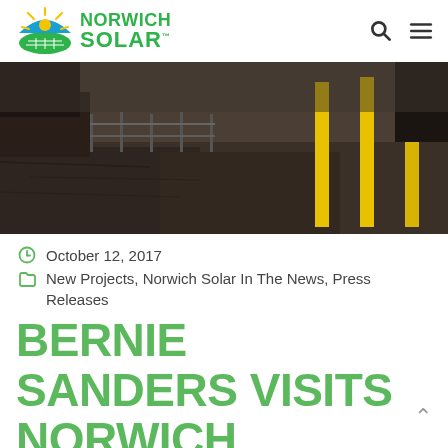Norwich Solar
[Figure (photo): Outdoor ground-level photo showing a muddy field with yellow posts/bollards and a fence in the background]
October 12, 2017
New Projects, Norwich Solar In The News, Press Releases
BERNIE SANDERS VISITS NORWICH SOLAR PROJECT AT